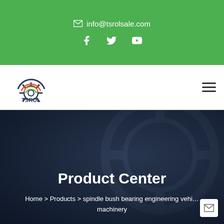info@tsrolsale.com
[Figure (logo): TSROL company logo with gear icon and text]
Product Center
Home > Products > spindle bush bearing engineering vehicle machinery